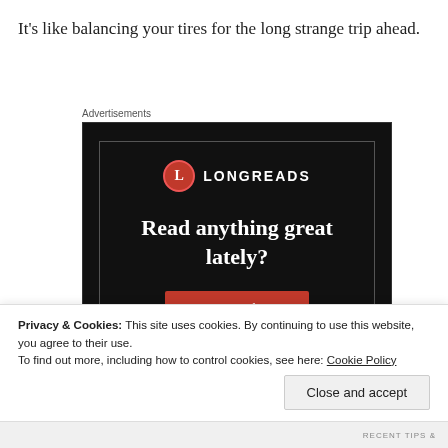It's like balancing your tires for the long strange trip ahead.
Advertisements
[Figure (illustration): Longreads advertisement banner on black background with logo, headline 'Read anything great lately?' and red 'Start reading' button]
Privacy & Cookies: This site uses cookies. By continuing to use this website, you agree to their use.
To find out more, including how to control cookies, see here: Cookie Policy